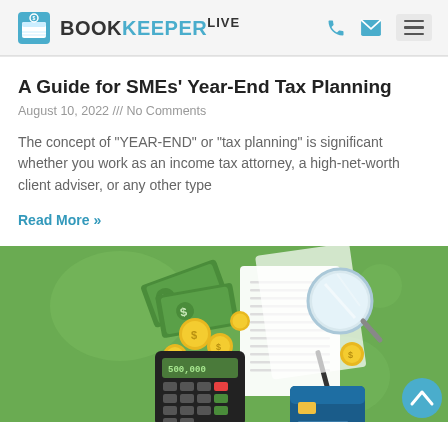BOOKKEEPER LIVE
A Guide for SMEs' Year-End Tax Planning
August 10, 2022 /// No Comments
The concept of "YEAR-END" or "tax planning" is significant whether you work as an income tax attorney, a high-net-worth client adviser, or any other type
Read More »
[Figure (illustration): Green-background financial illustration showing calculator with '500,000' display, gold coins, dollar bills, magnifying glass, documents/receipts, pen, and credit card — a tax planning themed graphic.]